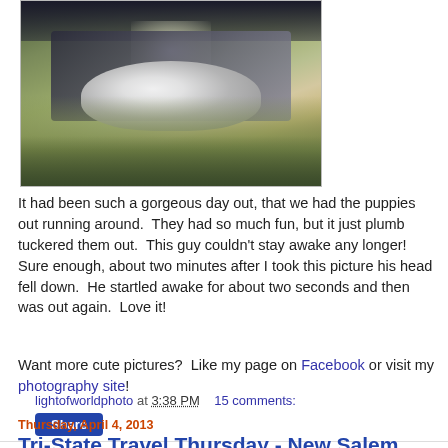[Figure (photo): Close-up photo of a puppy resting in grass, viewed from ground level with blurred grass and bokeh lighting in background]
It had been such a gorgeous day out, that we had the puppies out running around. They had so much fun, but it just plumb tuckered them out. This guy couldn't stay awake any longer! Sure enough, about two minutes after I took this picture his head fell down. He startled awake for about two seconds and then was out again. Love it!
Want more cute pictures? Like my page on Facebook or visit my photography site!
lightofworldphoto at 3:38 PM    15 comments:
Share
Thursday, April 4, 2013
Tri-State Travel Thursday - New Salem